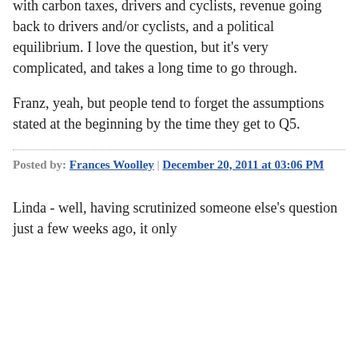with carbon taxes, drivers and cyclists, revenue going back to drivers and/or cyclists, and a political equilibrium. I love the question, but it's very complicated, and takes a long time to go through.
Franz, yeah, but people tend to forget the assumptions stated at the beginning by the time they get to Q5.
Posted by: Frances Woolley | December 20, 2011 at 03:06 PM
Linda - well, having scrutinized someone else's question just a few weeks ago, it only